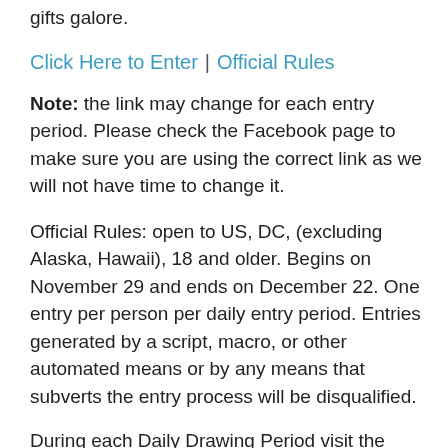gifts galore.
Click Here to Enter | Official Rules
Note: the link may change for each entry period. Please check the Facebook page to make sure you are using the correct link as we will not have time to change it.
Official Rules: open to US, DC, (excluding Alaska, Hawaii), 18 and older. Begins on November 29 and ends on December 22. One entry per person per daily entry period. Entries generated by a script, macro, or other automated means or by any means that subverts the entry process will be disqualified.
During each Daily Drawing Period visit the Mommy Kelly Facebook page and click on the